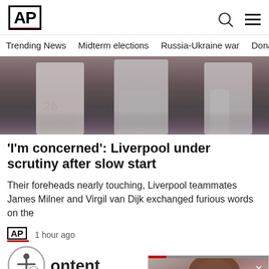AP
Trending News | Midterm elections | Russia-Ukraine war | Dona
[Figure (photo): Soccer players in white uniforms, one wearing number 26, cropped to show lower bodies and legs on a pitch with blurred crowd background.]
'I'm concerned': Liverpool under scrutiny after slow start
Their foreheads nearly touching, Liverpool teammates James Milner and Virgil van Dijk exchanged furious words on the
1 hour ago
[Figure (photo): Partial accessibility/human figure icon button with circle border, overlapping content label area.]
ontent
[Figure (photo): Close-up image of a hand holding or touching a metallic object, possibly a watch or accessory, with teal/blue background.]
[Figure (photo): Video overlay popup showing a smiling woman with long brown hair in a dark top, with a close (X) button and progress bar, and grey placeholder buttons below.]